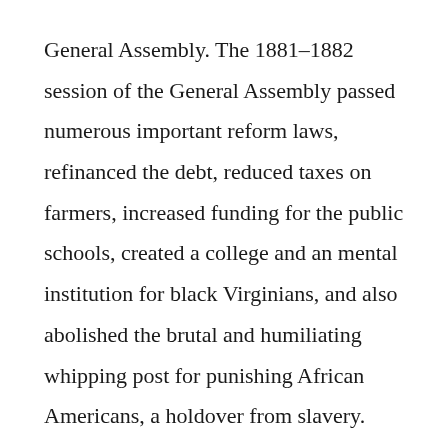General Assembly. The 1881–1882 session of the General Assembly passed numerous important reform laws, refinanced the debt, reduced taxes on farmers, increased funding for the public schools, created a college and an mental institution for black Virginians, and also abolished the brutal and humiliating whipping post for punishing African Americans, a holdover from slavery. The successes of the Readjuster administration and assembly would not have been possible without the support of African American voters and officeholders,